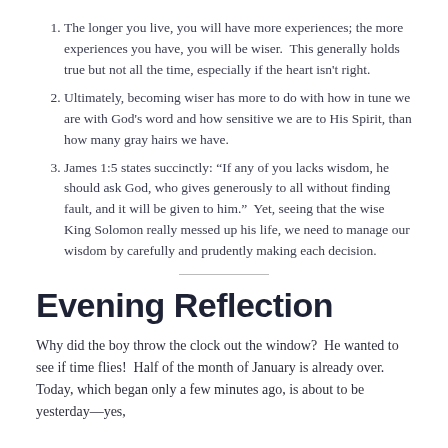The longer you live, you will have more experiences; the more experiences you have, you will be wiser.  This generally holds true but not all the time, especially if the heart isn't right.
Ultimately, becoming wiser has more to do with how in tune we are with God's word and how sensitive we are to His Spirit, than how many gray hairs we have.
James 1:5 states succinctly: “If any of you lacks wisdom, he should ask God, who gives generously to all without finding fault, and it will be given to him.”  Yet, seeing that the wise King Solomon really messed up his life, we need to manage our wisdom by carefully and prudently making each decision.
Evening Reflection
Why did the boy throw the clock out the window?  He wanted to see if time flies!  Half of the month of January is already over.  Today, which began only a few minutes ago, is about to be yesterday—yes,